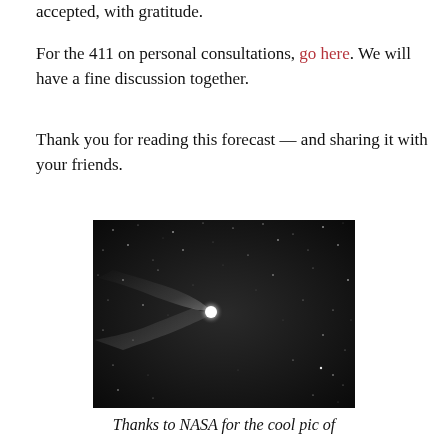accepted, with gratitude.
For the 411 on personal consultations, go here. We will have a fine discussion together.
Thank you for reading this forecast — and sharing it with your friends.
[Figure (photo): Black and white photograph of a comet with a bright nucleus and tail streaking across a star-filled night sky.]
Thanks to NASA for the cool pic of